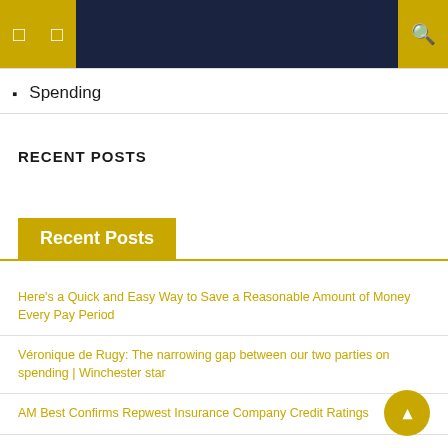Navigation bar with menu icons
Spending
RECENT POSTS
Recent Posts
Here's a Quick and Easy Way to Save a Reasonable Amount of Money Every Pay Period
Véronique de Rugy: The narrowing gap between our two parties on spending | Winchester star
AM Best Confirms Repwest Insurance Company Credit Ratings
Advancing Automobile Portability Act Can Close Retirement Savings